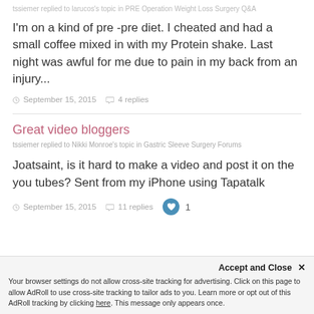tssiemer replied to larucos's topic in PRE Operation Weight Loss Surgery Q&A
I'm on a kind of pre -pre diet. I cheated and had a small coffee mixed in with my Protein shake. Last night was awful for me due to pain in my back from an injury...
September 15, 2015   4 replies
Great video bloggers
tssiemer replied to Nikki Monroe's topic in Gastric Sleeve Surgery Forums
Joatsaint, is it hard to make a video and post it on the you tubes? Sent from my iPhone using Tapatalk
September 15, 2015   11 replies   1
Accept and Close ×
Your browser settings do not allow cross-site tracking for advertising. Click on this page to allow AdRoll to use cross-site tracking to tailor ads to you. Learn more or opt out of this AdRoll tracking by clicking here. This message only appears once.